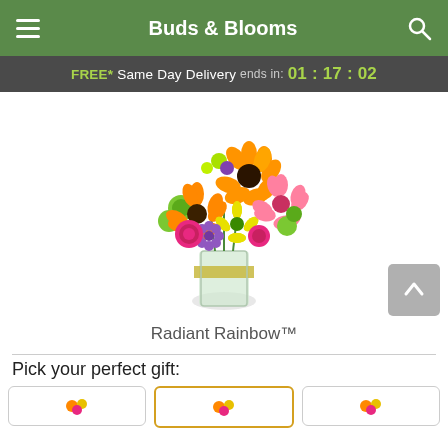Buds & Blooms
FREE* Same Day Delivery ends in: 01 : 17 : 02
[Figure (photo): Colorful mixed flower bouquet with orange, yellow, pink, and purple flowers in a glass vase with a gold ribbon, product photo on white background]
Radiant Rainbow™
Pick your perfect gift: